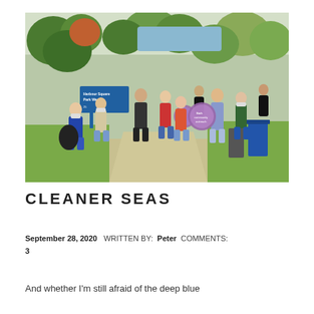[Figure (photo): Group of students wearing masks standing socially distanced outdoors in a park path (Harbour Square Park West), some holding purple circular signs, trees and blue water visible in background.]
CLEANER SEAS
September 28, 2020   WRITTEN BY:  Peter   COMMENTS: 3
And whether I'm still afraid of the deep blue